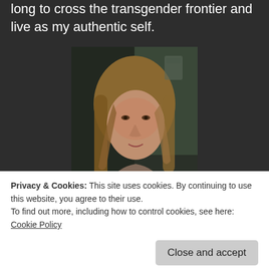long to cross the transgender frontier and live as my authentic self.
[Figure (photo): Portrait photo of a person with long blonde hair, facing slightly to the side, against a dark background.]
Most of you regulars probably know I am seventy two years old, considered myself to be a crossdresser for over a half a century and did not start to transition seriously until I was in my early sixties. At that point in time I started hormone replacement therapy (HRT).
Privacy & Cookies: This site uses cookies. By continuing to use this website, you agree to their use.
To find out more, including how to control cookies, see here: Cookie Policy
remember vividly the first time I made contact with